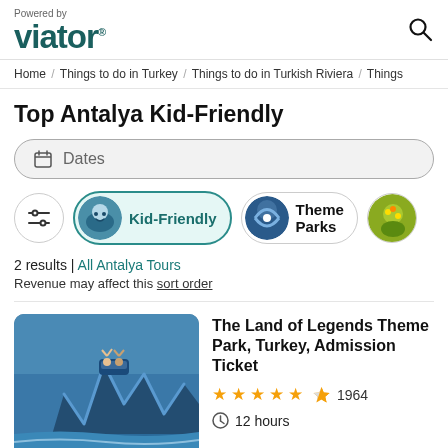Powered by viator. [search icon]
Home / Things to do in Turkey / Things to do in Turkish Riviera / Things
Top Antalya Kid-Friendly
Dates
Kid-Friendly   Theme Parks
2 results | All Antalya Tours
Revenue may affect this sort order
[Figure (photo): Theme park roller coaster with people riding, waterpark in background]
The Land of Legends Theme Park, Turkey, Admission Ticket
★★★★½ 1964
⏱ 12 hours